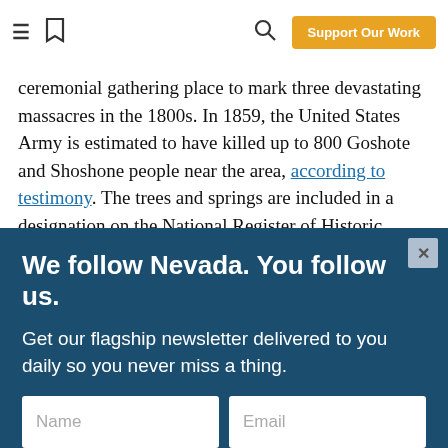≡ [bookmark icon] [search icon] Support Our Work
ceremonial gathering place to mark three devastating massacres in the 1800s. In 1859, the United States Army is estimated to have killed up to 800 Goshote and Shoshone people near the area, according to testimony. The trees and springs are included in a designation on the National Register of Historic Places.
We follow Nevada. You follow us.
Get our flagship newsletter delivered to you daily so you never miss a thing.
Name | Email
Yes! Sign Me Up
I am already a subscriber.